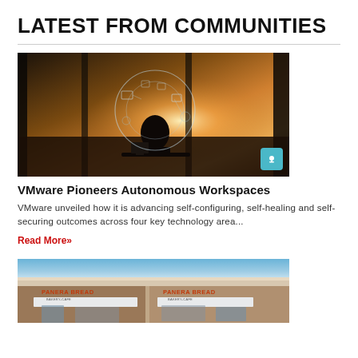LATEST FROM COMMUNITIES
[Figure (photo): Silhouette of a person sitting at a desk with holographic tech overlay and sunset through large windows]
VMware Pioneers Autonomous Workspaces
VMware unveiled how it is advancing self-configuring, self-healing and self-securing outcomes across four key technology area...
Read More»
[Figure (photo): Exterior of a Panera Bread restaurant building]